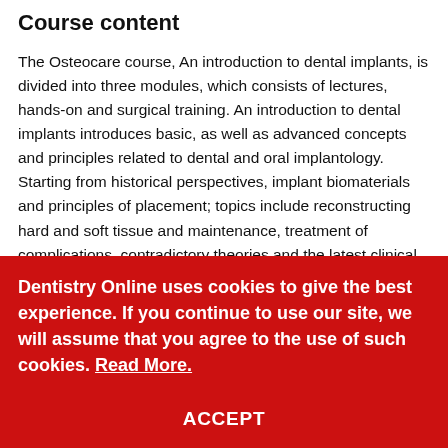Course content
The Osteocare course, An introduction to dental implants, is divided into three modules, which consists of lectures, hands-on and surgical training. An introduction to dental implants introduces basic, as well as advanced concepts and principles related to dental and oral implantology. Starting from historical perspectives, implant biomaterials and principles of placement; topics include reconstructing hard and soft tissue and maintenance, treatment of complications, contradictory theories and the latest clinical advancements.
Dentistry Online uses cookies to give the best experience. If you continue to use our site, we will assume that you agree to the use of such cookies. Read More.
ACCEPT